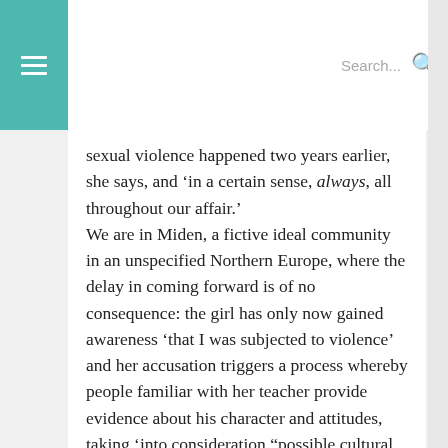Search...
sexual violence happened two years earlier, she says, and ‘in a certain sense, always, all throughout our affair.’
We are in Miden, a fictive ideal community in an unspecified Northern Europe, where the delay in coming forward is of no consequence: the girl has only now gained awareness ‘that I was subjected to violence’ and her accusation triggers a process whereby people familiar with her teacher provide evidence about his character and attitudes, taking ‘into consideration “possible cultural conflicts”’. The accused and his partner in fact hail from the outside